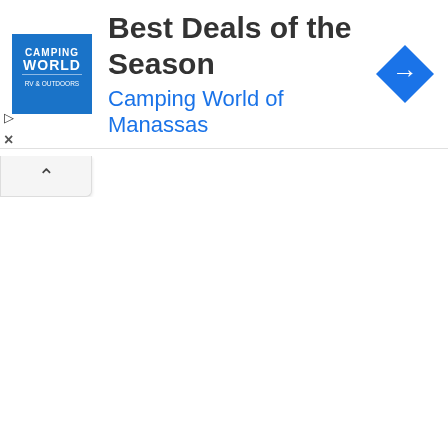[Figure (logo): Camping World RV & Outdoors logo — blue square with white text]
Best Deals of the Season
Camping World of Manassas
[Figure (illustration): Blue diamond navigation/directions icon with white right-turn arrow]
▷
×
^